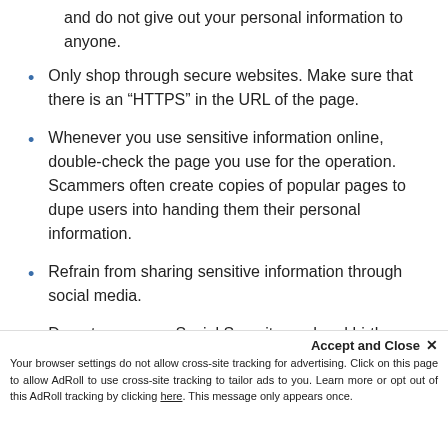and do not give out your personal information to anyone.
Only shop through secure websites. Make sure that there is an “HTTPS” in the URL of the page.
Whenever you use sensitive information online, double-check the page you use for the operation. Scammers often create copies of popular pages to dupe users into handing them their personal information.
Refrain from sharing sensitive information through social media.
Do not carry your Social Security card and birth certificate with you.
Accept and Close × Your browser settings do not allow cross-site tracking for advertising. Click on this page to allow AdRoll to use cross-site tracking to tailor ads to you. Learn more or opt out of this AdRoll tracking by clicking here. This message only appears once.